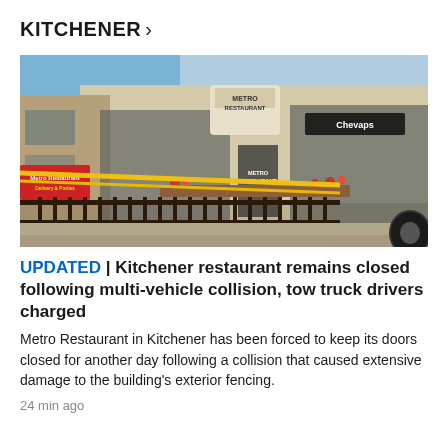KITCHENER >
[Figure (photo): Exterior of Metro Restaurant in Kitchener with yellow police/caution tape strung across iron fencing in front of the building. A red sign is visible on the left. The storefront shows 'Chevaps' signage on the right window and 'Metro Restaurant' text on the glass door. A bicycle tire is visible on the far right.]
UPDATED | Kitchener restaurant remains closed following multi-vehicle collision, tow truck drivers charged
Metro Restaurant in Kitchener has been forced to keep its doors closed for another day following a collision that caused extensive damage to the building's exterior fencing.
24 min ago